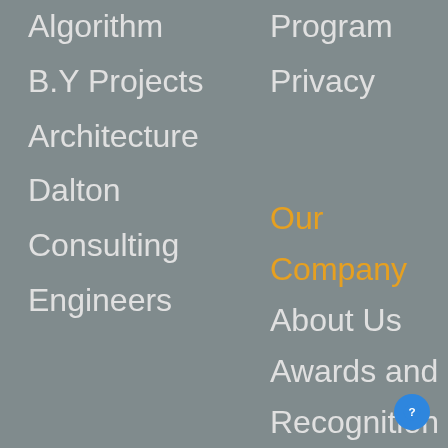Algorithm
B.Y Projects
Architecture
Dalton
Consulting
Engineers
Program
Privacy
Our Company
About Us
Awards and
Recognition
Contact Us